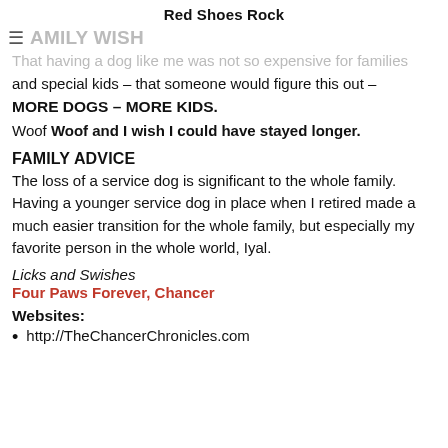Red Shoes Rock
FAMILY WISH
That having a dog like me was not so expensive for families and special kids – that someone would figure this out –
MORE DOGS – MORE KIDS.
Woof Woof and I wish I could have stayed longer.
FAMILY ADVICE
The loss of a service dog is significant to the whole family. Having a younger service dog in place when I retired made a much easier transition for the whole family, but especially my favorite person in the whole world, Iyal.
Licks and Swishes
Four Paws Forever, Chancer
Websites:
http://TheChancerChronicles.com